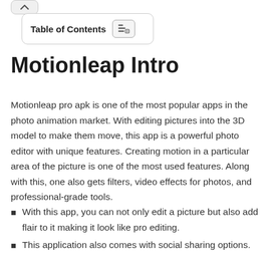[Figure (screenshot): Table of Contents toggle button with icon]
Motionleap Intro
Motionleap pro apk is one of the most popular apps in the photo animation market. With editing pictures into the 3D model to make them move, this app is a powerful photo editor with unique features. Creating motion in a particular area of the picture is one of the most used features. Along with this, one also gets filters, video effects for photos, and professional-grade tools.
With this app, you can not only edit a picture but also add flair to it making it look like pro editing.
This application also comes with social sharing options.